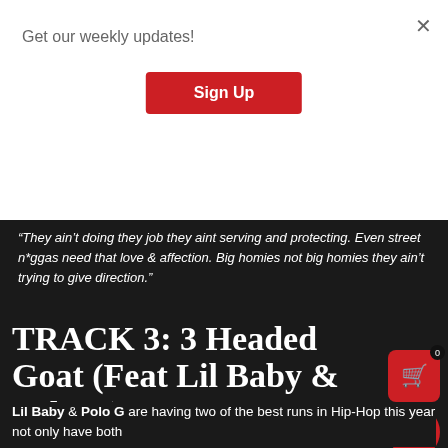Get our weekly updates!
Sign Up
“They ain’t doing they job they aint serving and protecting. Even street n*ggas need that love & affection. Big homies not big homies they ain’t trying to give direction.”
TRACK 3: 3 Headed Goat (Feat Lil Baby & Polo G)
Lil Baby & Polo G are having two of the best runs in Hip-Hop this year not only have both